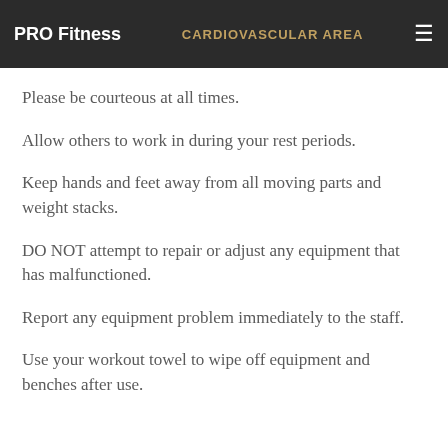PRO Fitness | CARDIOVASCULAR AREA
can be worn in workout areas.
Please be courteous at all times.
Allow others to work in during your rest periods.
Keep hands and feet away from all moving parts and weight stacks.
DO NOT attempt to repair or adjust any equipment that has malfunctioned.
Report any equipment problem immediately to the staff.
Use your workout towel to wipe off equipment and benches after use.